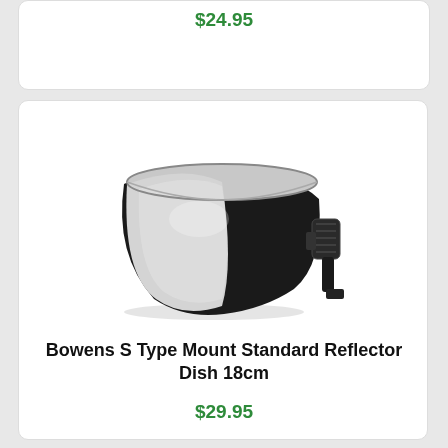$24.95
[Figure (photo): Bowens S Type Mount Standard Reflector Dish 18cm — a black bowl-shaped reflector dish with silver inner surface, mounted on a Bowens S-type mount bracket, viewed from a slight front angle]
Bowens S Type Mount Standard Reflector Dish 18cm
$29.95